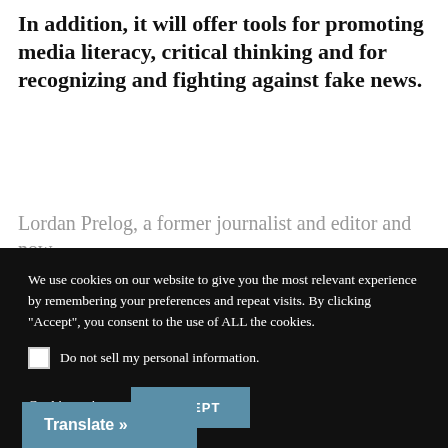In addition, it will offer tools for promoting media literacy, critical thinking and for recognizing and fighting against fake news.
Lordan Prelog, a former journalist and editor and now
[Figure (screenshot): Cookie consent overlay on a dark background with text about cookie usage, a checkbox for 'Do not sell my personal information', a 'Cookie settings' link, and an 'ACCEPT' button.]
[Figure (screenshot): A 'Translate »' button in teal/blue color at the bottom left of the page.]